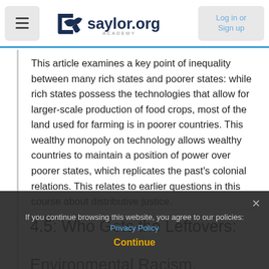saylor.org ACADEMY — Log in or Sign up
This article examines a key point of inequality between many rich states and poorer states: while rich states possess the technologies that allow for larger-scale production of food crops, most of the land used for farming is in poorer countries. This wealthy monopoly on technology allows wealthy countries to maintain a position of power over poorer states, which replicates the past's colonial relations. This relates to earlier questions in this course about distributive justice.
4.5: Who Gets the Leftovers: Environmental Racism, Degradation, and Waste
Overwhelmingly, environmental degradation, climate